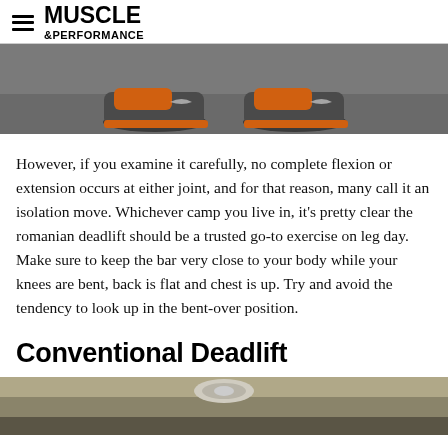MUSCLE &PERFORMANCE
[Figure (photo): Bottom portion of photo showing athletic shoes (Nike sneakers with orange accents) on a concrete/asphalt surface]
However, if you examine it carefully, no complete flexion or extension occurs at either joint, and for that reason, many call it an isolation move. Whichever camp you live in, it's pretty clear the romanian deadlift should be a trusted go-to exercise on leg day. Make sure to keep the bar very close to your body while your knees are bent, back is flat and chest is up. Try and avoid the tendency to look up in the bent-over position.
Conventional Deadlift
[Figure (photo): Top portion of photo showing a barbell with weight plates from above, on a dark background]